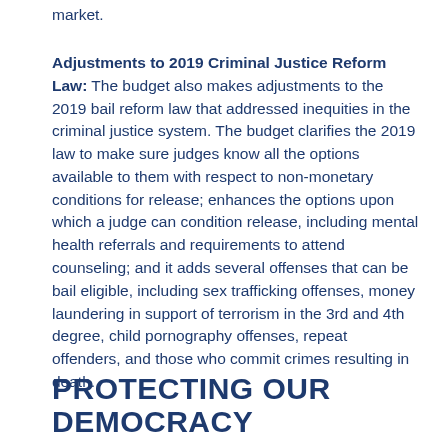market.
Adjustments to 2019 Criminal Justice Reform Law: The budget also makes adjustments to the 2019 bail reform law that addressed inequities in the criminal justice system. The budget clarifies the 2019 law to make sure judges know all the options available to them with respect to non-monetary conditions for release; enhances the options upon which a judge can condition release, including mental health referrals and requirements to attend counseling; and it adds several offenses that can be bail eligible, including sex trafficking offenses, money laundering in support of terrorism in the 3rd and 4th degree, child pornography offenses, repeat offenders, and those who commit crimes resulting in death.
PROTECTING OUR DEMOCRACY